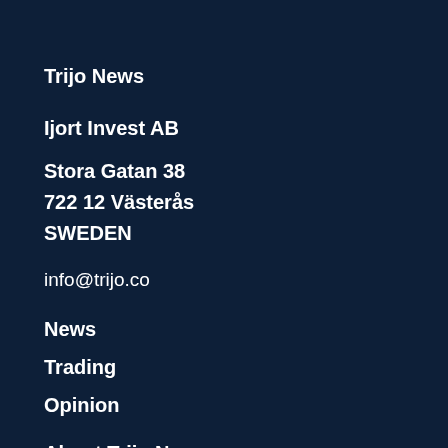Trijo News
Ijort Invest AB
Stora Gatan 38
722 12 Västerås
SWEDEN
info@trijo.co
News
Trading
Opinion
About Trijo News
Contact
Advertise
Archive